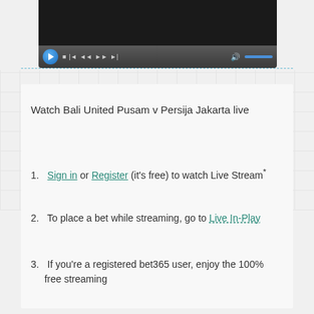[Figure (screenshot): Video player with black screen and playback controls bar showing play button, stop, skip, rewind, fast-forward, next buttons and volume slider on dark grey background]
Watch Bali United Pusam v Persija Jakarta live
Sign in or Register (it's free) to watch Live Stream*
To place a bet while streaming, go to Live In-Play
If you're a registered bet365 user, enjoy the 100% free streaming